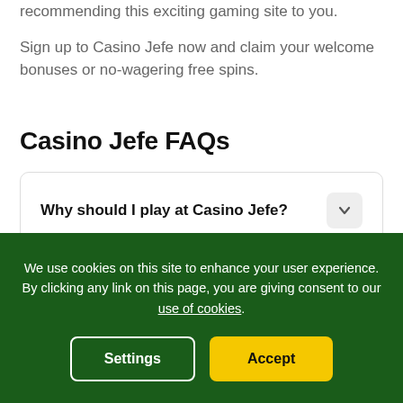recommending this exciting gaming site to you.
Sign up to Casino Jefe now and claim your welcome bonuses or no-wagering free spins.
Casino Jefe FAQs
Why should I play at Casino Jefe?
We use cookies on this site to enhance your user experience. By clicking any link on this page, you are giving consent to our use of cookies.